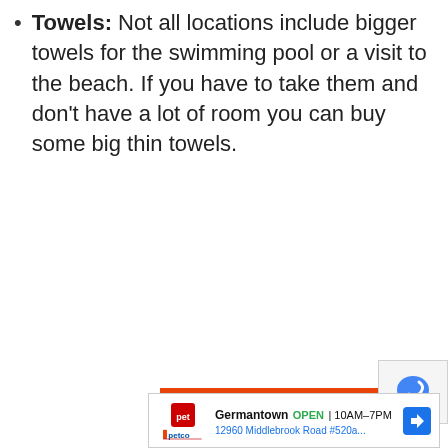Towels: Not all locations include bigger towels for the swimming pool or a visit to the beach. If you have to take them and don't have a lot of room you can buy some big thin towels.
[Figure (infographic): Direct Relief orange advertisement banner: 'Help send medical aid to Ukraine >>' with Direct Relief logo on left]
[Figure (infographic): Petco local store ad: Germantown OPEN 10AM-7PM, 12960 Middlebrook Road #520a... with navigation arrow]